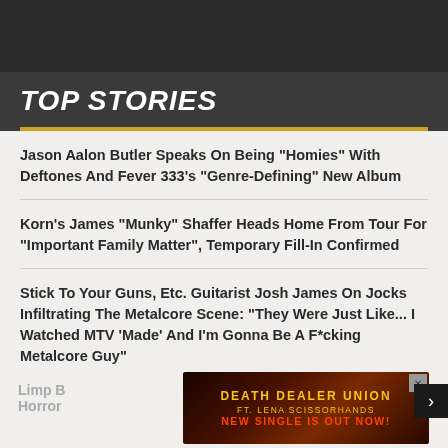TOP STORIES
Jason Aalon Butler Speaks On Being "Homies" With Deftones And Fever 333's "Genre-Defining" New Album
Korn's James "Munky" Shaffer Heads Home From Tour For "Important Family Matter", Temporary Fill-In Confirmed
Stick To Your Guns, Etc. Guitarist Josh James On Jocks Infiltrating The Metalcore Scene: "They Were Just Like... I Watched MTV 'Made' And I'm Gonna Be A F*cking Metalcore Guy"
Limp B... Horror...
[Figure (illustration): Advertisement banner for Death Dealer Union ft. Lena Scissorhands new single, with fire/dragon imagery and text 'DEATH DEALER UNION FT. LENA SCISSORHANDS NEW SINGLE IS OUT NOW!']